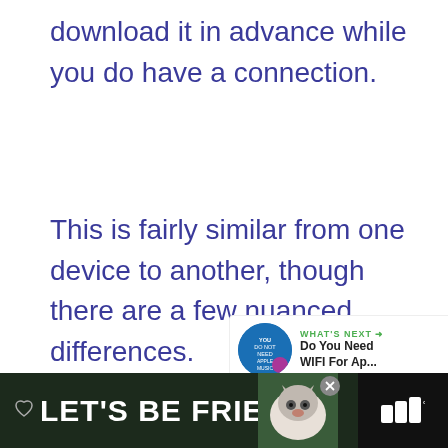download it in advance while you do have a connection.
This is fairly similar from one device to another, though there are a few nuanced differences.
[Figure (screenshot): Advertisement placeholder box with 'ADVERTISEMENT' label, a green heart icon button, a share icon button, and a 'WHAT'S NEXT' panel showing 'Do You Need WIFI For Ap...']
[Figure (screenshot): Bottom banner ad with dark green background showing a husky dog image, heart icon, close button, text 'LET'S BE FRIENDS', and a logo on the right]